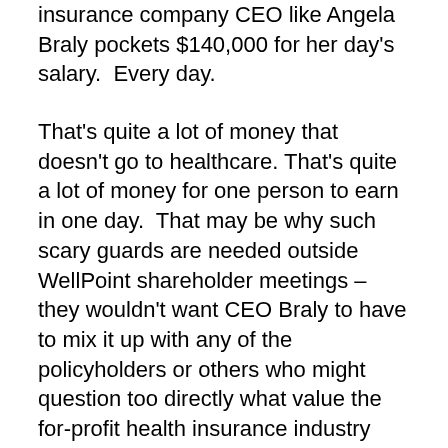insurance company CEO like Angela Braly pockets $140,000 for her day's salary.  Every day.
That's quite a lot of money that doesn't go to healthcare.  That's quite a lot of money for one person to earn in one day.  That may be why such scary guards are needed outside WellPoint shareholder meetings – they wouldn't want CEO Braly to have to mix it up with any of the policyholders or others who might question too directly what value the for-profit health insurance industry adds to the U.S. healthcare system.  I also wondered how much money those guards cost.  And the shot clocks to keep pesky questions to a minimum?  And how about the pro-Angela and pro-profit softball questions planted in the room?
WellPoint, like the other major insurance giants, can claim the best profits ever this year.  Times are good at the top